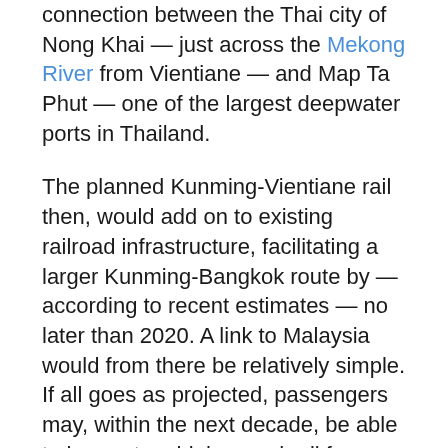connection between the Thai city of Nong Khai — just across the Mekong River from Vientiane — and Map Ta Phut — one of the largest deepwater ports in Thailand.
The planned Kunming-Vientiane rail then, would add on to existing railroad infrastructure, facilitating a larger Kunming-Bangkok route by — according to recent estimates — no later than 2020. A link to Malaysia would from there be relatively simple. If all goes as projected, passengers may, within the next decade, be able to hop onto a high speed rail from Kunming all the way to Singapore.
Past financial qualms that have plagued the realization of the Vientiane-Kunming proposal continue to worry politicians in both China and Laos. Although a fairly small investment for China, the seven billion dollar